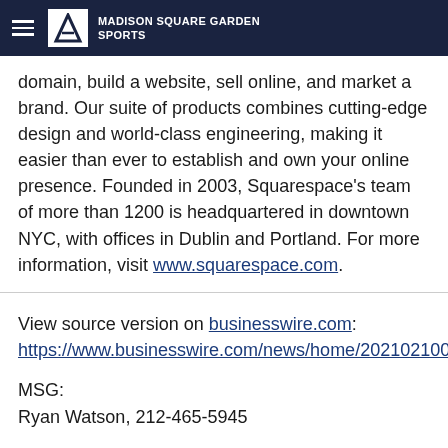Madison Square Garden Sports
domain, build a website, sell online, and market a brand. Our suite of products combines cutting-edge design and world-class engineering, making it easier than ever to establish and own your online presence. Founded in 2003, Squarespace's team of more than 1200 is headquartered in downtown NYC, with offices in Dublin and Portland. For more information, visit www.squarespace.com.
View source version on businesswire.com: https://www.businesswire.com/news/home/20210210005
MSG:
Ryan Watson, 212-465-5945
Squarespace: